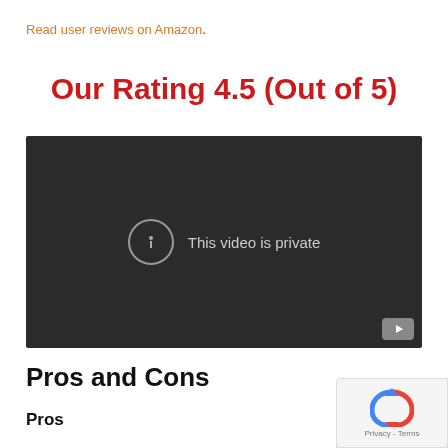Read user reviews on Amazon.
Our Rating 4.5 (Out of 5)
[Figure (screenshot): Embedded video player showing 'This video is private' message with a YouTube badge in the bottom right corner.]
Pros and Cons
Pros